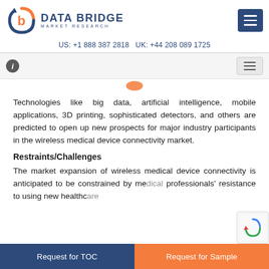[Figure (logo): Data Bridge Market Research logo with orange and blue circular arrow icon and company name text]
US: +1 888 387 2818 UK: +44 208 089 1725
Technologies like big data, artificial intelligence, mobile applications, 3D printing, sophisticated detectors, and others are predicted to open up new prospects for major industry participants in the wireless medical device connectivity market.
Restraints/Challenges
The market expansion of wireless medical device connectivity is anticipated to be constrained by medical professionals' resistance to using new healthcare